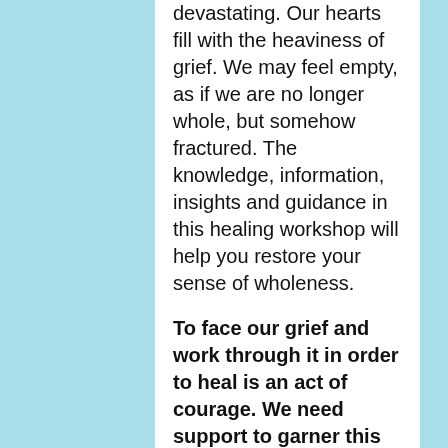devastating. Our hearts fill with the heaviness of grief. We may feel empty, as if we are no longer whole, but somehow fractured. The knowledge, information, insights and guidance in this healing workshop will help you restore your sense of wholeness.
To face our grief and work through it in order to heal is an act of courage. We need support to garner this courage to journey through such loss.
This in-depth yet very personal workshop was designed to